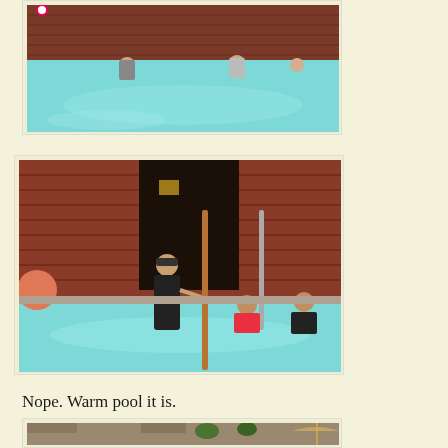[Figure (photo): Outdoor swimming pool with aqua/turquoise water, red/brown corrugated metal building in background, several people in the pool, overcast sky]
[Figure (photo): Women at an outdoor hot spring/pool area near a red corrugated metal building with a dark doorway. A woman in black floral swimsuit stands holding a copper pole, two women in bikinis are in the turquoise water.]
Nope. Warm pool it is.
[Figure (photo): Outdoor seating area or patio near a pool, with stone walls, potted plants, and umbrellas visible]